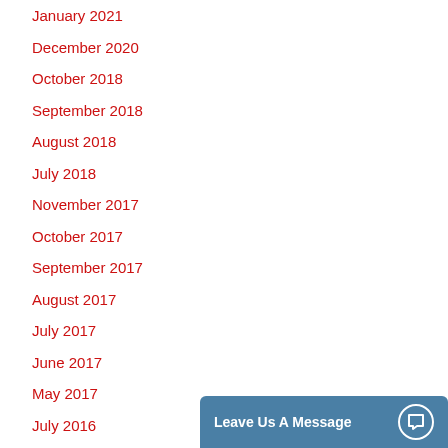January 2021
December 2020
October 2018
September 2018
August 2018
July 2018
November 2017
October 2017
September 2017
August 2017
July 2017
June 2017
May 2017
July 2016
June 2016
Leave Us A Message